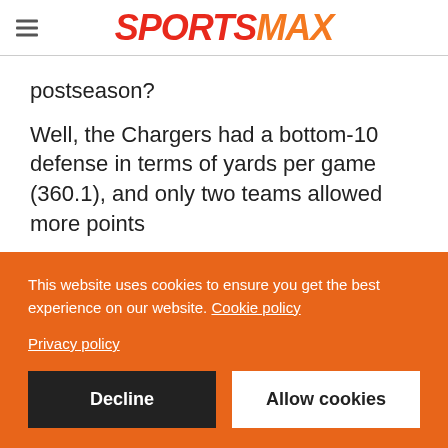SPORTSMAX
postseason?
Well, the Chargers had a bottom-10 defense in terms of yards per game (360.1), and only two teams allowed more points
This website uses cookies to ensure you get the best experience on our website. Cookie policy Privacy policy
Decline
Allow cookies